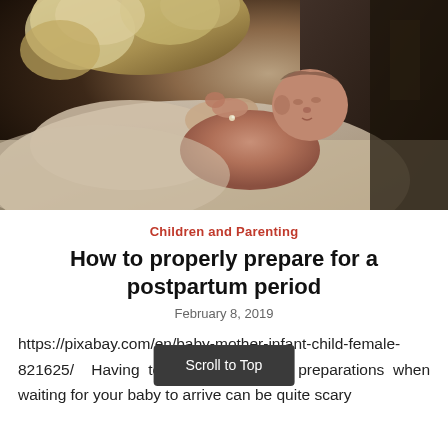[Figure (photo): A mother with curly blonde hair cradling a newborn baby against her chest, photographed in warm dim lighting. The baby appears newly born with reddish skin.]
Children and Parenting
How to properly prepare for a postpartum period
February 8, 2019
https://pixabay.com/en/baby-mother-infant-child-female-821625/ Having to deal with all the preparations when waiting for your baby to arrive can be quite scary